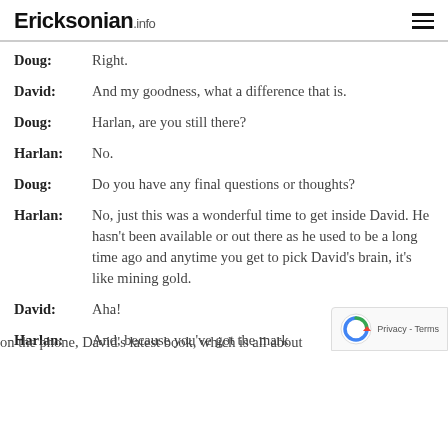Ericksonian.info
Doug:    Right.
David:    And my goodness, what a difference that is.
Doug:    Harlan, are you still there?
Harlan:    No.
Doug:    Do you have any final questions or thoughts?
Harlan:    No, just this was a wonderful time to get inside David. He hasn't been available or out there as he used to be a long time ago and anytime you get to pick David's brain, it's like mining gold.
David:    Aha!
Harlan:    And, because you've got the mark on the phone, David's latest book, which is all about